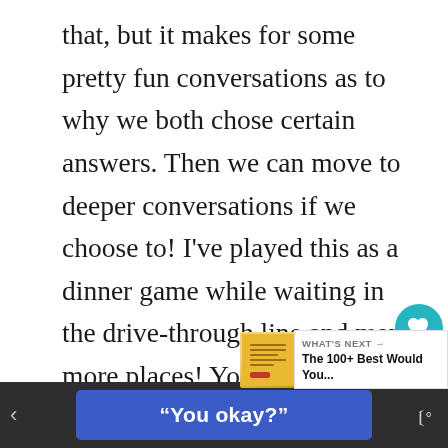that, but it makes for some pretty fun conversations as to why we both chose certain answers. Then we can move to deeper conversations if we choose to! I've played this as a dinner game while waiting in the drive-through line and many more places! You'll love this game no matter who you play it with!

Pair this game with come other V- Day favorites like Valentine's Day Bingo and
[Figure (screenshot): Teal circular heart/save button and a light grey circular share button overlaid on the main text area]
[Figure (infographic): WHAT'S NEXT panel showing book thumbnail and text 'The 100+ Best Would You...']
[Figure (screenshot): Bottom dark bar with blue button reading "You okay?" and small Tidal-like music icon on the right]